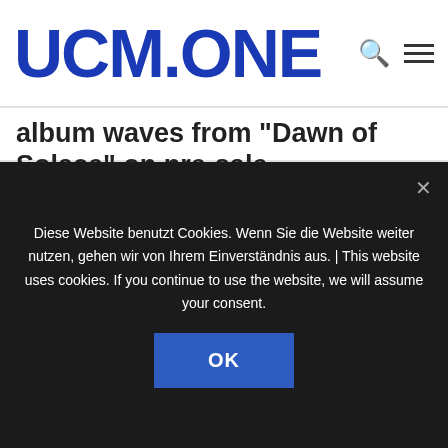UCM.ONE
album waves from "Dawn of Solace" on pre-sale
Music, News, Noble Demon • 29. July 2022
The second album of Tuomas Saukkonen's death and gothic doom metal icon "Dawn of Solace" was released as the first album ever on Noble Demon,...
read more... ▶
Diese Website benutzt Cookies. Wenn Sie die Website weiter nutzen, gehen wir von Ihrem Einverständnis aus. | This website uses cookies. If you continue to use the website, we will assume your consent.